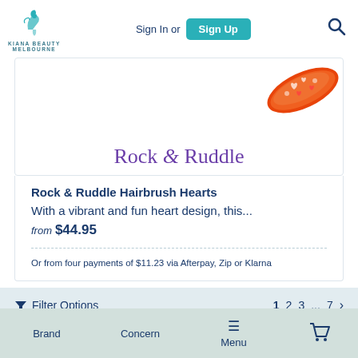[Figure (logo): Kiana Beauty Melbourne logo with teal bird/peacock illustration and text]
Sign In or Sign Up
[Figure (illustration): Rock & Ruddle Hairbrush with colorful heart pattern design, partially shown at top of product card]
Rock & Ruddle
Rock & Ruddle Hairbrush Hearts
With a vibrant and fun heart design, this...
from $44.95
Or from four payments of $11.23 via Afterpay, Zip or Klarna
Filter Options
1 2 3 ... 7 ›
Brand
Concern
≡ Menu
[Figure (other): Shopping cart icon]